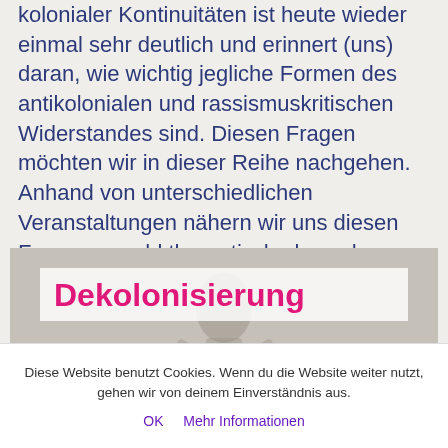kolonialer Kontinuitäten ist heute wieder einmal sehr deutlich und erinnert (uns) daran, wie wichtig jegliche Formen des antikolonialen und rassismuskritischen Widerstandes sind. Diesen Fragen möchten wir in dieser Reihe nachgehen. Anhand von unterschiedlichen Veranstaltungen nähern wir uns diesen Fragen sowohl theoretisch als auch performativ an.
[Figure (illustration): Background image of a figure/sculpture with overlaid text boxes. Pink text box shows 'Dekolonisierung' and white text box shows 'in Kunst und visueller Kultur' in dark blue bold text.]
Diese Website benutzt Cookies. Wenn du die Website weiter nutzt, gehen wir von deinem Einverständnis aus.
OK   Mehr Informationen